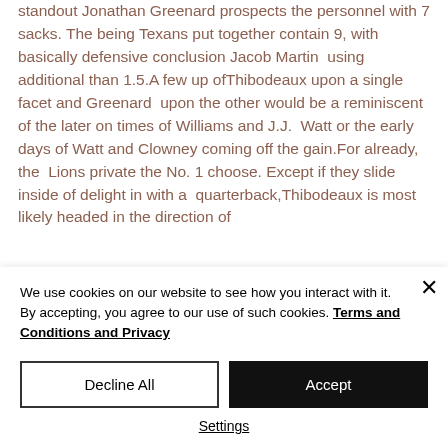standout Jonathan Greenard prospects the personnel with 7 sacks. The being Texans put together contain 9, with basically defensive conclusion Jacob Martin  using additional than 1.5.A few up ofThibodeaux upon a single facet and Greenard  upon the other would be a reminiscent of the later on times of Williams and J.J.  Watt or the early days of Watt and Clowney coming off the gain.For already, the  Lions private the No. 1 choose. Except if they slide inside of delight in with a  quarterback,Thibodeaux is most likely headed in the direction of
We use cookies on our website to see how you interact with it. By accepting, you agree to our use of such cookies. Terms and Conditions and Privacy